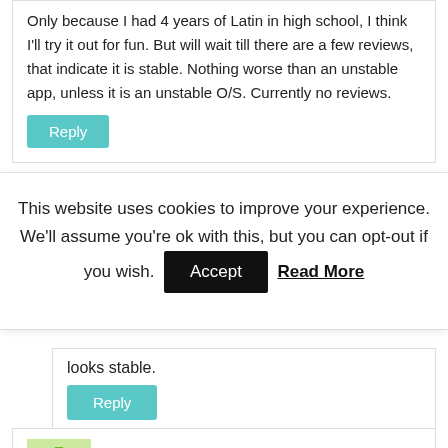Only because I had 4 years of Latin in high school, I think I'll try it out for fun. But will wait till there are a few reviews, that indicate it is stable. Nothing worse than an unstable app, unless it is an unstable O/S. Currently no reviews.
Reply
This website uses cookies to improve your experience. We'll assume you're ok with this, but you can opt-out if you wish. Accept Read More
looks stable.
Reply
Gary